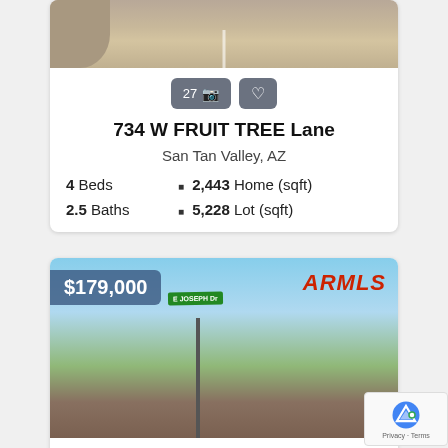[Figure (photo): Aerial/street view photo of a property - top portion visible showing gravel landscaping and road]
27 [camera icon] [heart icon]
734 W FRUIT TREE Lane
San Tan Valley, AZ
4 Beds
2,443 Home (sqft)
2.5 Baths
5,228 Lot (sqft)
[Figure (photo): Street-level photo of a property listing showing $179,000 price, E Joseph street sign, ARMLS logo, and a home with desert landscaping]
6 [camera icon] [heart icon]
32551 N Felix Road